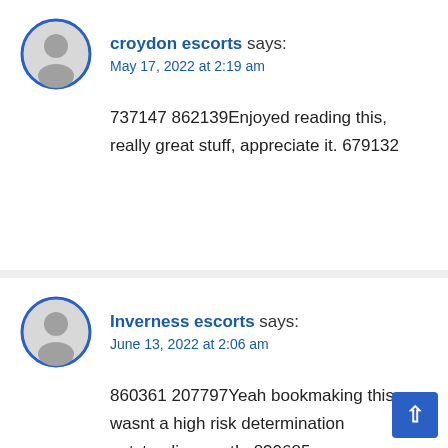croydon escorts says:
May 17, 2022 at 2:19 am
737147 862139Enjoyed reading this, really great stuff, appreciate it. 679132
Inverness escorts says:
June 13, 2022 at 2:06 am
860361 207797Yeah bookmaking this wasnt a high risk determination outstanding post! . 830685